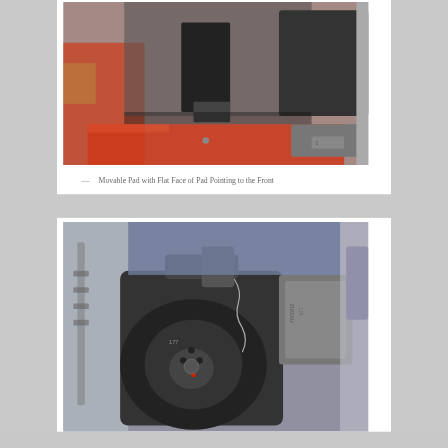[Figure (photo): Close-up photo of a movable brake pad assembly with flat face pointing to the front, showing red painted machine frame and dark metal brake pad components]
— Movable Pad with Flat Face of Pad Pointing to the Front
[Figure (photo): Close-up photo of a mechanical brake or clutch component assembly showing a metal disc, spring wire, and labeled parts on red machine frame]